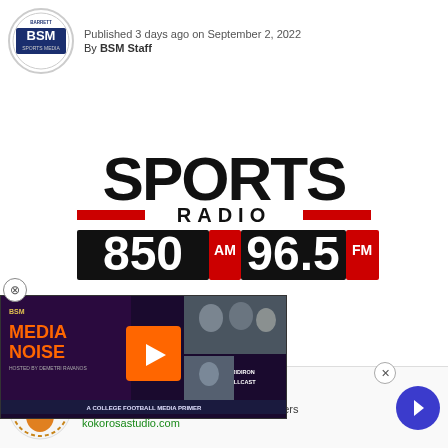[Figure (logo): Barrett Sports Media (BSM) circular logo with blue background]
Published 3 days ago on September 2, 2022
By BSM Staff
[Figure (logo): Sports Radio 850 AM / 96.5 FM logo in black, red, and white]
[Figure (screenshot): BSM Media Noise podcast promotional image with college football media primer theme, overlaid on page]
ed it's sports programming
[Figure (logo): Kokorosa Cutting Dies advertisement banner with fox logo]
Kokorosa Cutting Dies
Cutting dies, stamps, and embossing folders
kokorosastudio.com